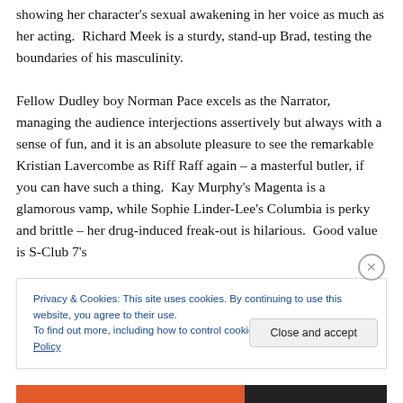showing her character's sexual awakening in her voice as much as her acting.  Richard Meek is a sturdy, stand-up Brad, testing the boundaries of his masculinity.

Fellow Dudley boy Norman Pace excels as the Narrator, managing the audience interjections assertively but always with a sense of fun, and it is an absolute pleasure to see the remarkable Kristian Lavercombe as Riff Raff again – a masterful butler, if you can have such a thing.  Kay Murphy's Magenta is a glamorous vamp, while Sophie Linder-Lee's Columbia is perky and brittle – her drug-induced freak-out is hilarious.  Good value is S-Club 7's
Privacy & Cookies: This site uses cookies. By continuing to use this website, you agree to their use.
To find out more, including how to control cookies, see here: Cookie Policy